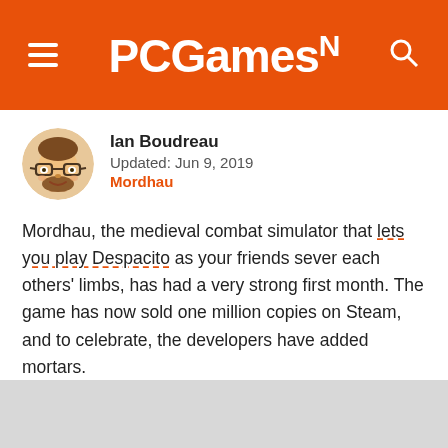PCGamesN
[Figure (photo): Cartoon-style avatar illustration of Ian Boudreau, a man with glasses and beard]
Ian Boudreau
Updated: Jun 9, 2019
Mordhau
Mordhau, the medieval combat simulator that lets you play Despacito as your friends sever each others' limbs, has had a very strong first month. The game has now sold one million copies on Steam, and to celebrate, the developers have added mortars.